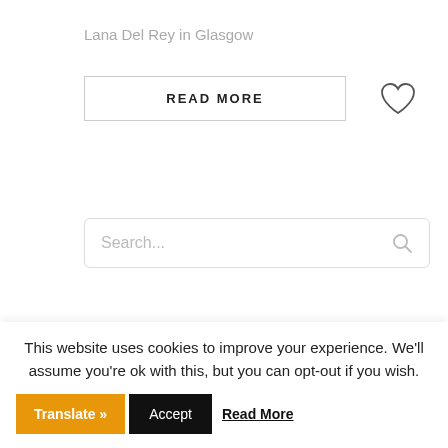Lana Del Rey in Glasgow
[Figure (screenshot): READ MORE button with border, and a heart icon to the right]
[Figure (screenshot): Search input box with placeholder text 'Search...' and a search icon]
[Figure (logo): HANNON logo in bold dark gray text with decorative chevron shapes below]
This website uses cookies to improve your experience. We'll assume you're ok with this, but you can opt-out if you wish.
Translate »
Accept
Read More